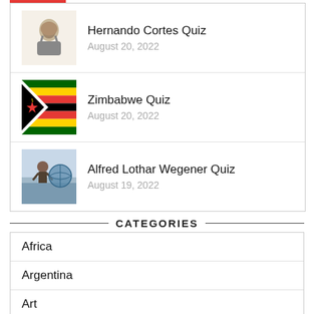Hernando Cortes Quiz — August 20, 2022
Zimbabwe Quiz — August 20, 2022
Alfred Lothar Wegener Quiz — August 19, 2022
CATEGORIES
Africa
Argentina
Art